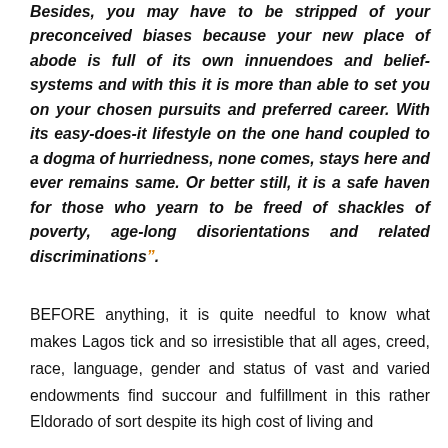Besides, you may have to be stripped of your preconceived biases because your new place of abode is full of its own innuendoes and belief-systems and with this it is more than able to set you on your chosen pursuits and preferred career. With its easy-does-it lifestyle on the one hand coupled to a dogma of hurriedness, none comes, stays here and ever remains same. Or better still, it is a safe haven for those who yearn to be freed of shackles of poverty, age-long disorientations and related discriminations”.
BEFORE anything, it is quite needful to know what makes Lagos tick and so irresistible that all ages, creed, race, language, gender and status of vast and varied endowments find succour and fulfillment in this rather Eldorado of sort despite its high cost of living and